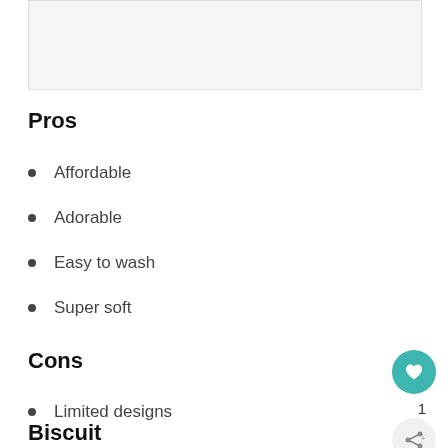[Figure (photo): Light gray image placeholder rectangle at top of page]
Pros
Affordable
Adorable
Easy to wash
Super soft
Cons
Limited designs
Biscuit